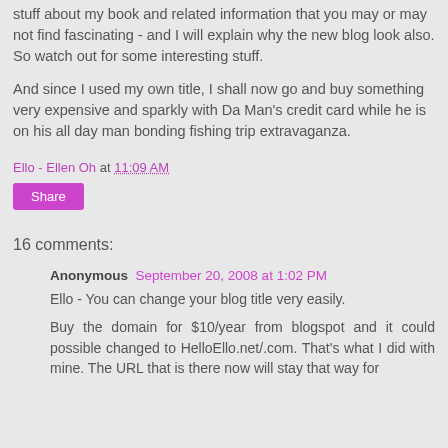stuff about my book and related information that you may or may not find fascinating - and I will explain why the new blog look also. So watch out for some interesting stuff.
And since I used my own title, I shall now go and buy something very expensive and sparkly with Da Man's credit card while he is on his all day man bonding fishing trip extravaganza.
Ello - Ellen Oh at 11:09 AM
Share
16 comments:
Anonymous September 20, 2008 at 1:02 PM
Ello - You can change your blog title very easily.
Buy the domain for $10/year from blogspot and it could possible changed to HelloEllo.net/.com. That's what I did with mine. The URL that is there now will stay that way for